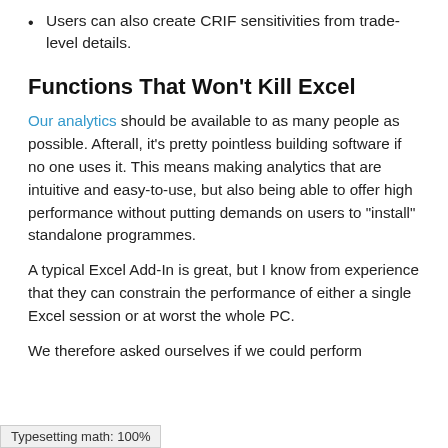Users can also create CRIF sensitivities from trade-level details.
Functions That Won't Kill Excel
Our analytics should be available to as many people as possible. Afterall, it's pretty pointless building software if no one uses it. This means making analytics that are intuitive and easy-to-use, but also being able to offer high performance without putting demands on users to “install” standalone programmes.
A typical Excel Add-In is great, but I know from experience that they can constrain the performance of either a single Excel session or at worst the whole PC.
We therefore asked ourselves if we could perform...